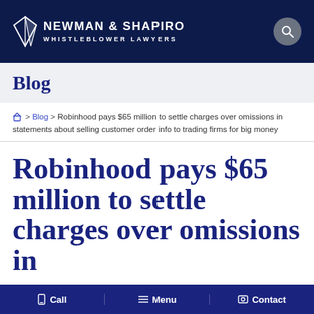NEWMAN & SHAPIRO WHISTLEBLOWER LAWYERS
Blog
Home > Blog > Robinhood pays $65 million to settle charges over omissions in statements about selling customer order info to trading firms for big money
Robinhood pays $65 million to settle charges over omissions in
Call   Menu   Contact